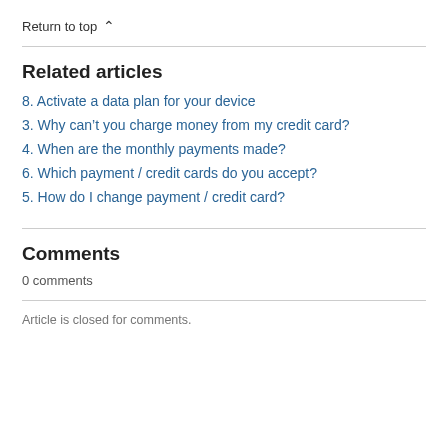Return to top ^
Related articles
8. Activate a data plan for your device
3. Why can’t you charge money from my credit card?
4. When are the monthly payments made?
6. Which payment / credit cards do you accept?
5. How do I change payment / credit card?
Comments
0 comments
Article is closed for comments.